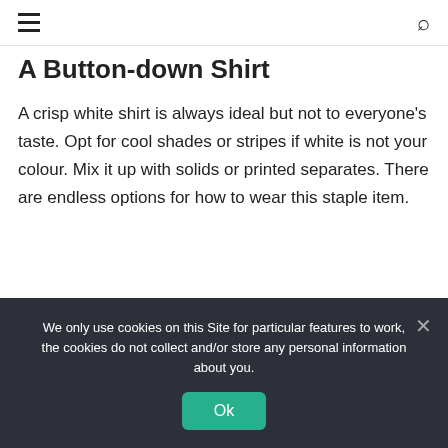[hamburger menu icon] [search icon]
A Button-down Shirt
A crisp white shirt is always ideal but not to everyone's taste. Opt for cool shades or stripes if white is not your colour. Mix it up with solids or printed separates. There are endless options for how to wear this staple item.
[Figure (photo): A light blue button-down collared shirt photographed from the front, showing the collar and upper portion of the shirt body.]
We only use cookies on this Site for particular features to work, the cookies do not collect and/or store any personal information about you.